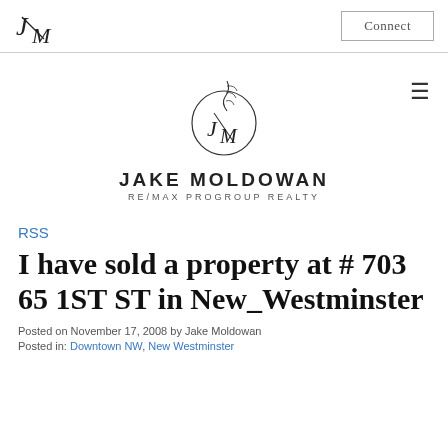JM logo | Connect button
[Figure (logo): Jake Moldowan JM logo with bamboo branch inside a circle, brand name JAKE MOLDOWAN, RE/MAX PROGROUP REALTY]
RSS
I have sold a property at # 703 65 1ST ST in New_Westminster
Posted on November 17, 2008 by Jake Moldowan
Posted in: Downtown NW, New Westminster